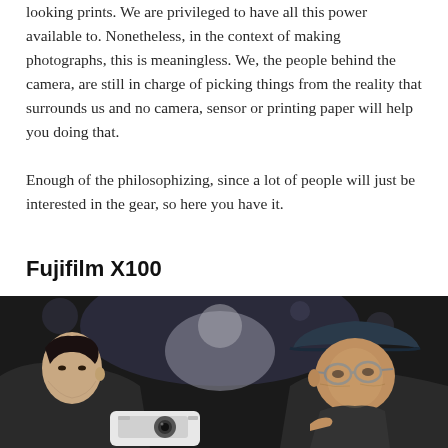looking prints. We are privileged to have all this power available to. Nonetheless, in the context of making photographs, this is meaningless. We, the people behind the camera, are still in charge of picking things from the reality that surrounds us and no camera, sensor or printing paper will help you doing that.
Enough of the philosophizing, since a lot of people will just be interested in the gear, so here you have it.
Fujifilm X100
[Figure (photo): Two men examining a white Fujifilm X100 camera in a dark, crowded environment. The man on the left has dark hair and is younger; the man on the right is older, wearing a dark hat and glasses. The background is dark and blurred with other people.]